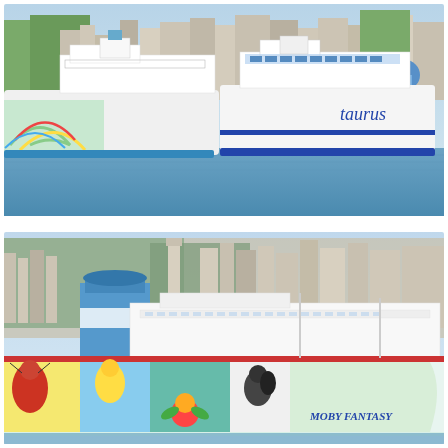[Figure (photo): Photograph of large white ferry ships docked at a port. The left ship has colorful abstract artwork on its hull with green, yellow, and red swirls. The right ship has 'taurus' written on its hull in blue lettering. A dense hillside city with buildings and green trees is visible in the background.]
[Figure (photo): Close-up photograph of the Moby Fantasy ferry ship docked at port. The ship's hull features colorful cartoon artwork including characters, flowers, and bright colors (red, yellow, blue, green). The white superstructure with the funnel bearing a blue and white design is prominently visible. The name 'MOBY FANTASY' is written on the bow. A hillside city is visible in the background.]